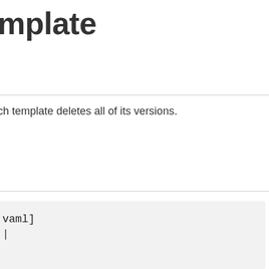mplate
ch template deletes all of its versions.
[Figure (screenshot): Code block with light gray background containing text 'vaml]' and a cursor/bracket on the next line]